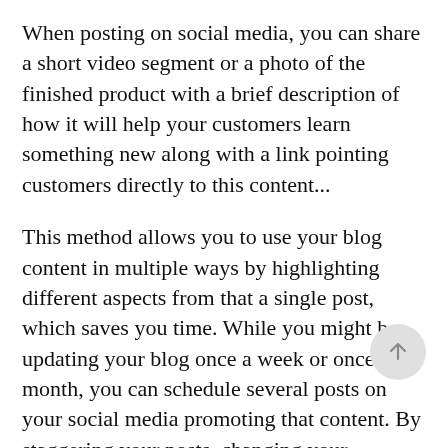When posting on social media, you can share a short video segment or a photo of the finished product with a brief description of how it will help your customers learn something new along with a link pointing customers directly to this content...
This method allows you to use your blog content in multiple ways by highlighting different aspects from that a single post, which saves you time. While you might be updating your blog once a week or once a month, you can schedule several posts on your social media promoting that content. By staggering your posts, changing your hashtags, content, and keywords